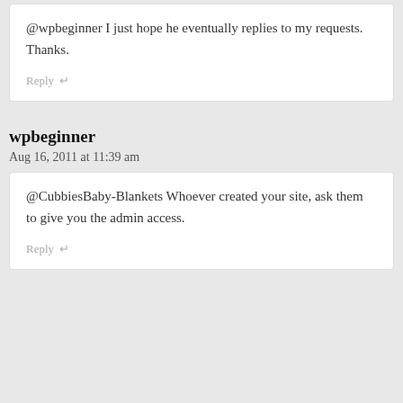@wpbeginner I just hope he eventually replies to my requests. Thanks.
Reply ↵
wpbeginner
Aug 16, 2011 at 11:39 am
@CubbiesBaby-Blankets Whoever created your site, ask them to give you the admin access.
Reply ↵